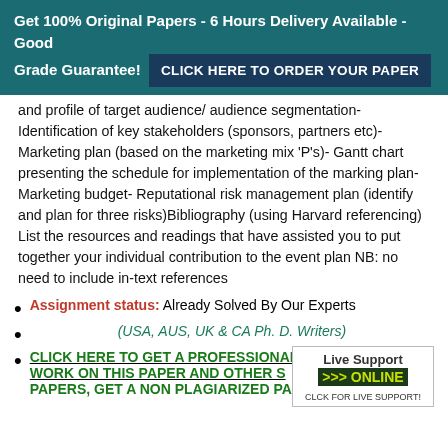Get 100% Original Papers - 6 Hours Delivery Available - Good Grade Guarantee! CLICK HERE TO ORDER YOUR PAPER
and profile of target audience/ audience segmentation- Identification of key stakeholders (sponsors, partners etc)- Marketing plan (based on the marketing mix 'P's)- Gantt chart presenting the schedule for implementation of the marking plan- Marketing budget- Reputational risk management plan (identify and plan for three risks)Bibliography (using Harvard referencing) List the resources and readings that have assisted you to put together your individual contribution to the event plan NB: no need to include in-text references
Assignment status: Already Solved By Our Experts
(USA, AUS, UK & CA Ph. D. Writers)
CLICK HERE TO GET A PROFESSIONAL WRITER TO WORK ON THIS PAPER AND OTHER SIMILAR PAPERS, GET A NON PLAGIARIZED PAPER FROM OUR EXPERTS